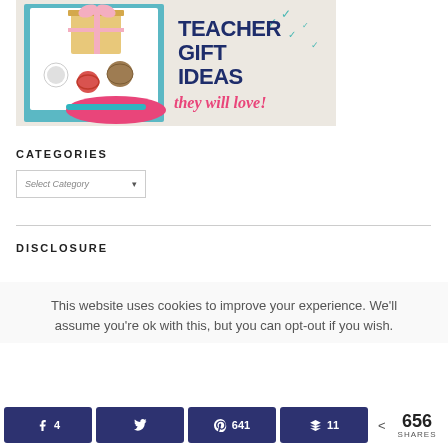[Figure (illustration): Promotional banner for Teacher Gift Ideas showing wrapped gifts and craft items on a light background with bold navy text 'TEACHER GIFT IDEAS' and pink script text 'they will love!']
CATEGORIES
Select Category
DISCLOSURE
This website uses cookies to improve your experience. We'll assume you're ok with this, but you can opt-out if you wish.
4  641  11  < 656 SHARES